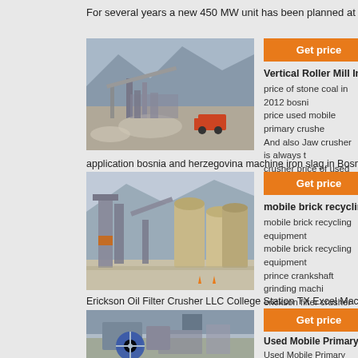For several years a new 450 MW unit has been planned at the Tuzla coal po
[Figure (photo): Aerial view of an open-pit mining operation with conveyors, rock piles, and a red truck on a dusty terrain with mountains in the background.]
Get price
Vertical Roller Mill In Bosnia H
price of stone coal in 2012 bosni price used mobile primary crushe And also Jaw crusher is always t crusher price of used mobile jaw
application bosnia and herzegovina machine iron slag in Bosnia and Herzeg
[Figure (photo): Industrial cement or mineral processing plant with large cylindrical silos, conveyor belts, and towers against a mountain backdrop with safety cones in the foreground.]
Get price
mobile brick recycling equipm
mobile brick recycling equipment mobile brick recycling equipment prince crankshaft grinding machi erickson filter crusher llc Read m
Erickson Oil Filter Crusher LLC College Station TX Excel Machinery Contact
[Figure (photo): Close-up of heavy industrial crushing or mining machinery with a large blue flywheel and metal framework.]
Get price
Used Mobile Primary Crushers
Used Mobile Primary Crushers B a large-scale manufacturer spec mining machines including diff